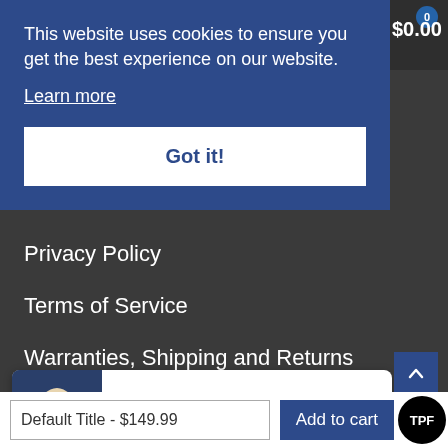This website uses cookies to ensure you get the best experience on our website.
Learn more
Got it!
$0.00
Privacy Policy
Terms of Service
Warranties, Shipping and Returns
Refund Policy
91 People are looking this product right now...
Default Title - $149.99
Add to cart
TPF